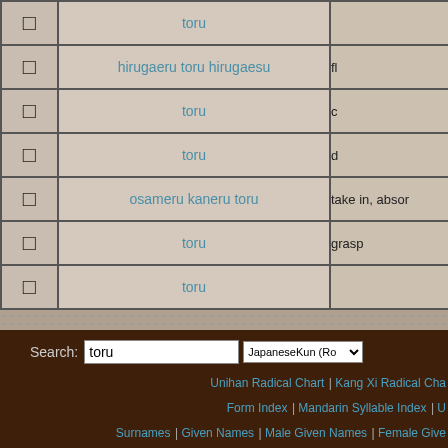| Character | Reading | Meaning |
| --- | --- | --- |
| □ | toru |  |
| □ | hirugaeru toru hirugaesu | fl |
| □ | toru | c |
| □ | toru | d |
| □ | osameru kaneru toru | take in, absor |
| □ | toru | grasp |
| □ | toru |  |
Search: toru | JapaneseKun (Ro...
Unihan Radical Chart | Kang Xi Radical Cha... | Form Index | Mandarin Syllable Index | U... | Surnames | Given Names | Male Given Names | Female Give... | Character of the Day | Random C | Donate | About | Preferen...
HKS Grade Level Index (Traditional): 1 2 3 4 5 6 - USENET
HKS Grade Level Index (Simplified): 1 2 3 4 5 6 - USENET